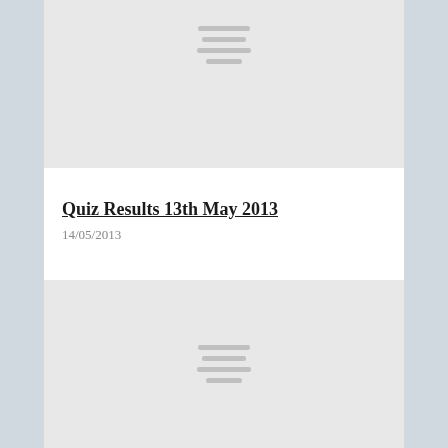[Figure (other): Gray placeholder image block at top of page with four horizontal lines indicating loading/placeholder content]
Quiz Results 13th May 2013
14/05/2013
[Figure (other): Gray placeholder image block at bottom of page with four horizontal lines indicating loading/placeholder content]